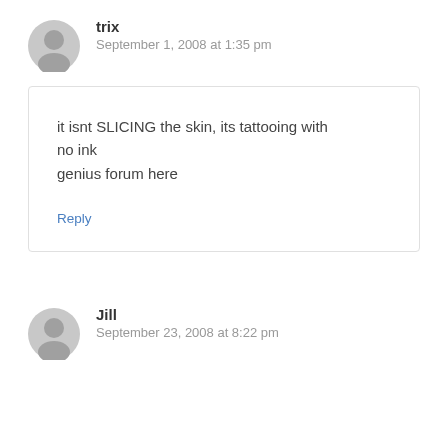trix
September 1, 2008 at 1:35 pm
it isnt SLICING the skin, its tattooing with no ink
genius forum here
Reply
Jill
September 23, 2008 at 8:22 pm